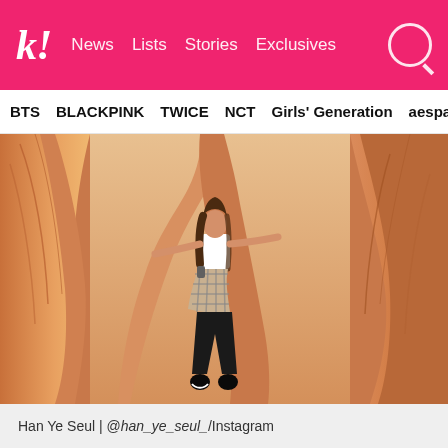k! News Lists Stories Exclusives
BTS BLACKPINK TWICE NCT Girls' Generation aespa
[Figure (photo): Han Ye Seul standing in a narrow slot canyon with orange-red sandstone walls, wearing a white t-shirt, plaid skirt, and black leggings]
Han Ye Seul | @han_ye_seul_/Instagram